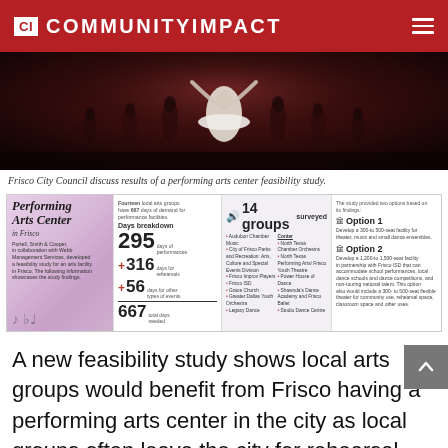CI COMMUNITYIMPACT
[Figure (photo): Ballet dancers in white tutus on stage, dimly lit from behind]
Frisco City Council discuss results of a performing arts center feasibility study.
[Figure (infographic): Performing Arts Center in Frisco infographic showing 14 groups surveyed, 667 total days needed (295 performance + 316 rehearsal + 56 other), and two facility options.]
A new feasibility study shows local arts groups would benefit from Frisco having a performing arts center in the city as local groups often leave the city for rehearsal and performance space.